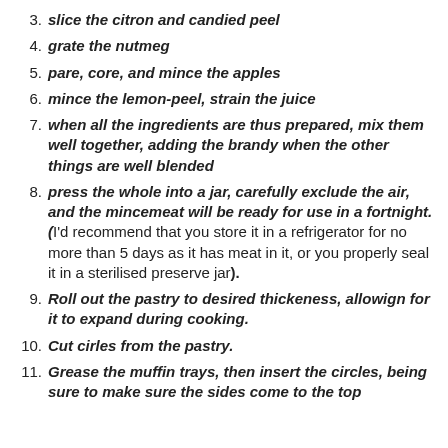3. slice the citron and candied peel
4. grate the nutmeg
5. pare, core, and mince the apples
6. mince the lemon-peel, strain the juice
7. when all the ingredients are thus prepared, mix them well together, adding the brandy when the other things are well blended
8. press the whole into a jar, carefully exclude the air, and the mincemeat will be ready for use in a fortnight. (I'd recommend that you store it in a refrigerator for no more than 5 days as it has meat in it, or you properly seal it in a sterilised preserve jar).
9. Roll out the pastry to desired thickeness, allowign for it to expand during cooking.
10. Cut cirles from the pastry.
11. Grease the muffin trays, then insert the circles, being sure to make sure the sides come to the top